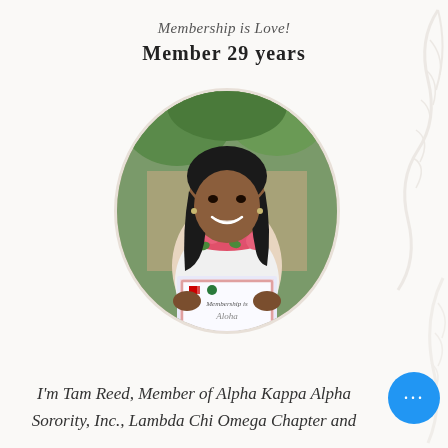Membership is Love!
Member 29 years
[Figure (photo): Oval portrait photo of Tam Reed, a woman smiling, wearing a white top with a pink floral lei necklace, holding a sign that reads 'Membership is Aloha' with sorority logos, outdoors with green foliage background.]
I'm Tam Reed, Member of Alpha Kappa Alpha Sorority, Inc., Lambda Chi Omega Chapter and